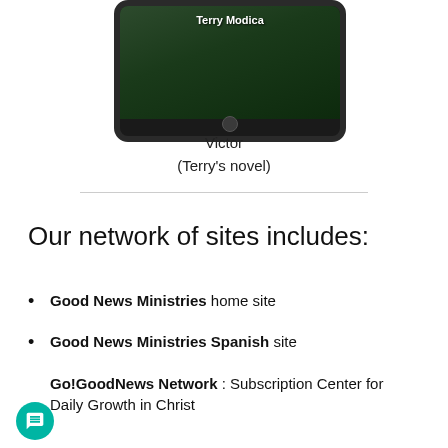[Figure (photo): Tablet device showing a book cover with title 'Terry Modica' overlaid on a dark forest background]
Victor
(Terry's novel)
Our network of sites includes:
Good News Ministries home site
Good News Ministries Spanish site
Go!GoodNews Network : Subscription Center for Daily Growth in Christ